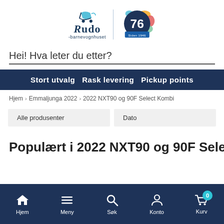[Figure (logo): Rudo barnevognhuset logo with stroller icon and 76 anniversary badge (Siden 1946)]
Hei! Hva leter du etter?
Stort utvalg  Rask levering  Pickup points
Hjem > Emmaljunga 2022 > 2022 NXT90 og 90F Select Kombi
Alle produsenter
Dato
Populært i 2022 NXT90 og 90F Select
Hjem  Meny  Søk  Konto  Kurv